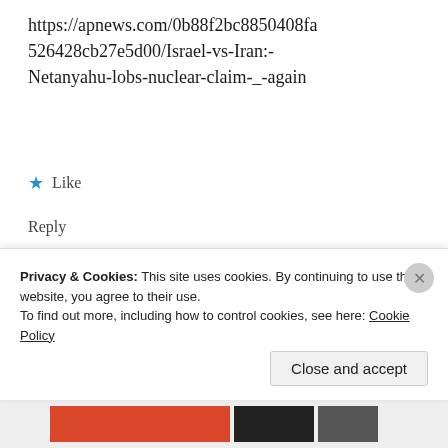https://apnews.com/0b88f2bc8850408fa526428cb27e5d00/Israel-vs-Iran:-Netanyahu-lobs-nuclear-claim-_-again
Like
Reply
Robert Pickle
September 27, 2018 at 7:05 pm
Netandyahoo sets the propaganda to pretext the Goat to attack the Persian
Privacy & Cookies: This site uses cookies. By continuing to use this website, you agree to their use.
To find out more, including how to control cookies, see here: Cookie Policy
Close and accept